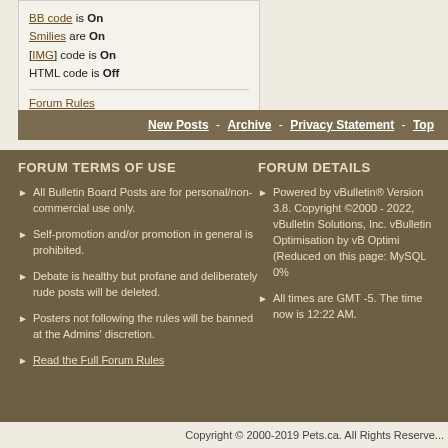BB code is On
Smilies are On
[IMG] code is On
HTML code is Off
Forum Rules
New Posts - Archive - Privacy Statement - Top
FORUM TERMS OF USE
All Bulletin Board Posts are for personal/non-commercial use only.
Self-promotion and/or promotion in general is prohibited.
Debate is healthy but profane and deliberately rude posts will be deleted.
Posters not following the rules will be banned at the Admins' discretion.
Read the Full Forum Rules
FORUM DETAILS
Powered by vBulletin® Version 3.8. Copyright ©2000 - 2022, vBulletin Solutions, Inc. vBulletin Optimisation by vB Optimi (Reduced on this page: MySQL 0%
All times are GMT -5. The time now is 12:22 AM.
Copyright © 2000-2019 Pets.ca. All Rights Reserved.